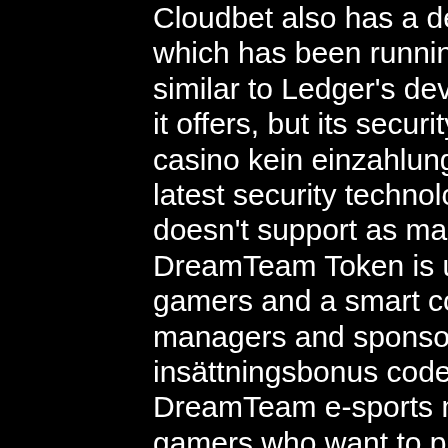Cloudbet also has a decent range of sportsbook betting, which has been running since its launch in 2013. It is similar to Ledger's devices when it comes to the features it offers, but its security features are even better, bitstarz casino kein einzahlungsbonus codes 2021. It has the latest security technology implemented into it, but it doesn't support as many altcoins. The company's DreamTeam Token is used as a method of payment for gamers and a smart contract mechanism between teams, managers and sponsors, bitstarz casino ingen insättningsbonus codes. Industry impact: The DreamTeam e-sports management platform supports gamers who want to practice their skills, create teams or look for endorsement deals for games like League of Legends and Counter-